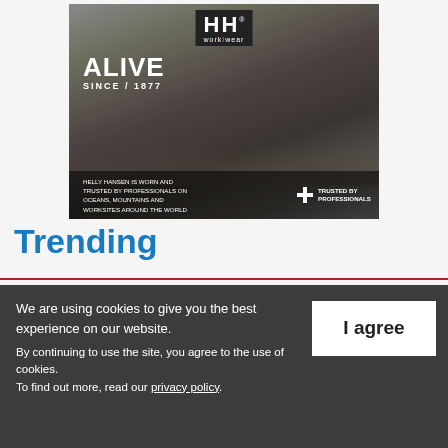[Figure (photo): Helly Hansen Workwear advertisement. A man in a plaid shirt and dark work pants carries a toolbox on a construction site. The HH Workwear logo appears at the top. Text reads 'ALIVE SINCE / 1877'. Bottom overlay text: 'HELLY HANSEN IS WORN AND TRUSTED BY PROFESSIONALS ON OCEANS, MOUNTAINS AND WORKSITES AROUND THE WORLD' and 'TRUSTED BY PROFESSIONALS' with a plus/cross icon.]
Trending
We are using cookies to give you the best experience on our website.
By continuing to use the site, you agree to the use of cookies. To find out more, read our privacy policy.